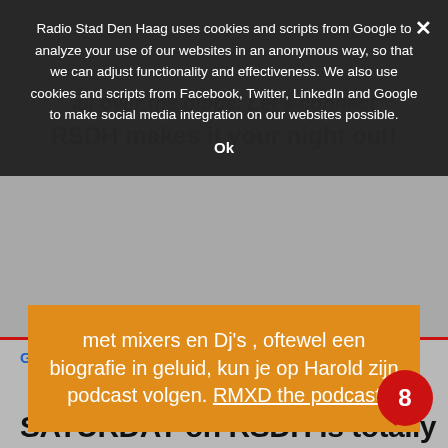Radio Stad Den Haag uses cookies and scripts from Google to analyze your use of our websites in an anonymous way, so that we can adjust functionality and effectiveness. We also use cookies and scripts from Facebook, Twitter, LinkedIn and Google to make social media integration on our websites possible.
Ok
De uitgebreide serie gesprekken met mixers en Dj's , oftewel een biografie in geluid, kun je op Harold zijn podcast volgen. RMXD the podcast
Gwen 20-08-2022.
SATURDAY on RSDH is totally